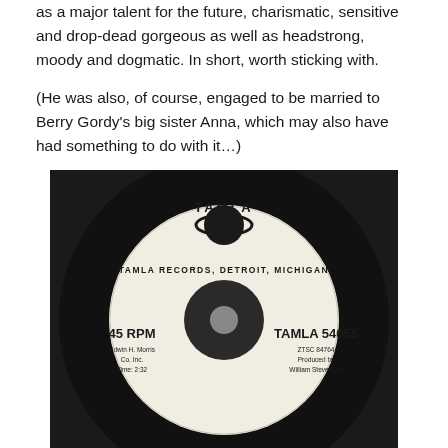as a major talent for the future, charismatic, sensitive and drop-dead gorgeous as well as headstrong, moody and dogmatic. In short, worth sticking with.

(He was also, of course, engaged to be married to Berry Gordy's big sister Anna, which may also have had something to do with it…)
[Figure (photo): A vintage Tamla Records 45 RPM vinyl single label. The white circular label reads 'TAMLA RECORDS, DETROIT, MICHIGAN' at the top center, with the Tamla logo (globe with orbiting element) above it. On the left it shows '45 RPM', 'Edwin H. Morris Co. Inc.', 'Time: 2:32'. On the right it shows 'TAMLA 54055', 'ZTSC 84764', 'Produced by William Stevenson'. The record is set against a black vinyl background.]